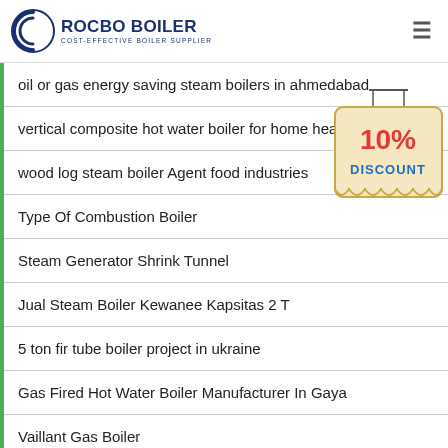ROCBO BOILER — COST-EFFECTIVE BOILER SUPPLIER
oil or gas energy saving steam boilers in ahmedabad
vertical composite hot water boiler for home heating
wood log steam boiler Agent food industries
Type Of Combustion Boiler
Steam Generator Shrink Tunnel
Jual Steam Boiler Kewanee Kapsitas 2 T
5 ton fir tube boiler project in ukraine
Gas Fired Hot Water Boiler Manufacturer In Gaya
Vaillant Gas Boiler